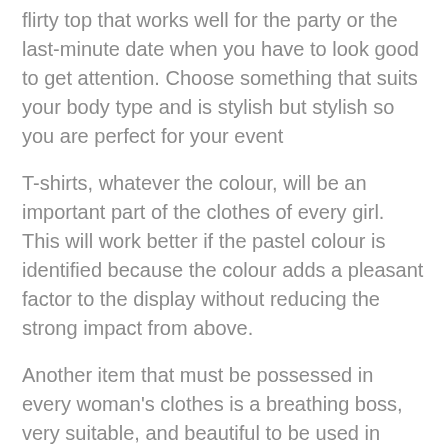flirty top that works well for the party or the last-minute date when you have to look good to get attention. Choose something that suits your body type and is stylish but stylish so you are perfect for your event
T-shirts, whatever the colour, will be an important part of the clothes of every girl. This will work better if the pastel colour is identified because the colour adds a pleasant factor to the display without reducing the strong impact from above.
Another item that must be possessed in every woman's clothes is a breathing boss, very suitable, and beautiful to be used in most events. If you have a fairly flexible part to wear in any weather and anywhere, it will also save your day and help you handle the last-minute event. Combine them with skirts, pants, jeans or shorts and every time you show off a new look.
However, don't forget to complete your appearance with the right shoes and never forget to improve your appearance